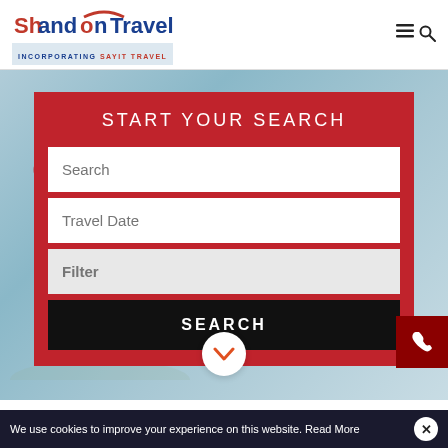[Figure (logo): Shandon Travel logo incorporating Sayit Travel, with red and blue text and a red arc graphic]
[Figure (screenshot): Travel website hero section showing a golfer in background with sky, featuring a red search card overlay]
START YOUR SEARCH
Search
Travel Date
Filter
SEARCH
We use cookies to improve your experience on this website. Read More